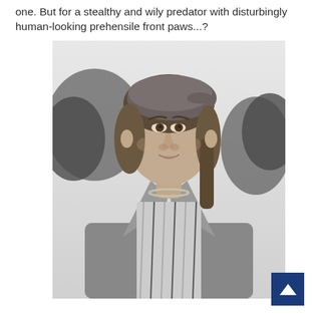one. But for a stealthy and wily predator with disturbingly human-looking prehensile front paws...?
[Figure (photo): Black and white photograph of a young woman wearing a beret and a striped blouse with a jacket, looking directly at the camera with trees in the background.]